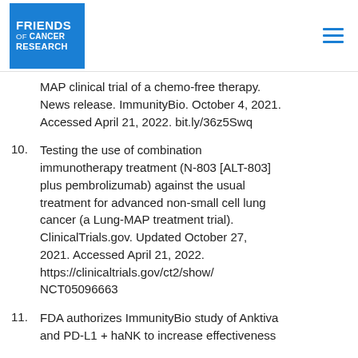[Figure (logo): Friends of Cancer Research logo — blue square with white text]
MAP clinical trial of a chemo-free therapy. News release. ImmunityBio. October 4, 2021. Accessed April 21, 2022. bit.ly/36z5Swq
10. Testing the use of combination immunotherapy treatment (N-803 [ALT-803] plus pembrolizumab) against the usual treatment for advanced non-small cell lung cancer (a Lung-MAP treatment trial). ClinicalTrials.gov. Updated October 27, 2021. Accessed April 21, 2022. https://clinicaltrials.gov/ct2/show/NCT05096663
11. FDA authorizes ImmunityBio study of Anktiva and PD-L1 + haNK to increase effectiveness